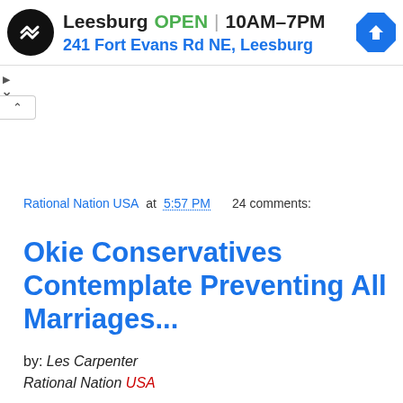[Figure (screenshot): Ad banner showing a business logo (black circle with white double-arrow icon), business name 'Leesburg', status 'OPEN', hours '10AM–7PM', address '241 Fort Evans Rd NE, Leesburg', and a blue diamond navigation arrow icon on the right.]
Rational Nation USA at 5:57 PM    24 comments:
Okie Conservatives Contemplate Preventing All Marriages...
by: Les Carpenter
Rational Nation USA